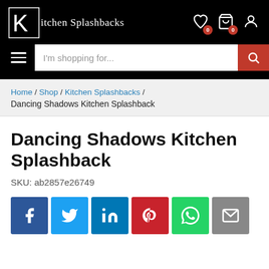Kitchen Splashbacks — site header with logo, wishlist, cart, account icons, hamburger menu, and search bar
Home / Shop / Kitchen Splashbacks / Dancing Shadows Kitchen Splashback
Dancing Shadows Kitchen Splashback
SKU: ab2857e26749
[Figure (infographic): Social share buttons: Facebook (blue), Twitter (light blue), LinkedIn (dark blue), Pinterest (red), WhatsApp (green), Email (grey)]